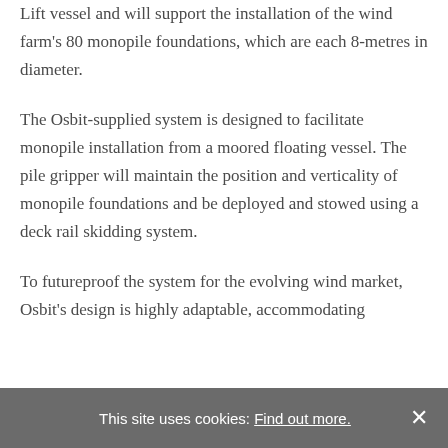Lift vessel and will support the installation of the wind farm's 80 monopile foundations, which are each 8-metres in diameter.
The Osbit-supplied system is designed to facilitate monopile installation from a moored floating vessel. The pile gripper will maintain the position and verticality of monopile foundations and be deployed and stowed using a deck rail skidding system.
To futureproof the system for the evolving wind market, Osbit's design is highly adaptable, accommodating
This site uses cookies: Find out more. ×